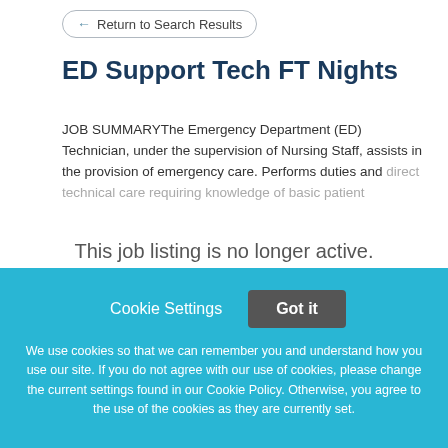← Return to Search Results
ED Support Tech FT Nights
JOB SUMMARYThe Emergency Department (ED) Technician, under the supervision of Nursing Staff, assists in the provision of emergency care. Performs duties and direct technical care requiring knowledge of basic patient
This job listing is no longer active.
Cookie Settings
Got it
We use cookies so that we can remember you and understand how you use our site. If you do not agree with our use of cookies, please change the current settings found in our Cookie Policy. Otherwise, you agree to the use of the cookies as they are currently set.